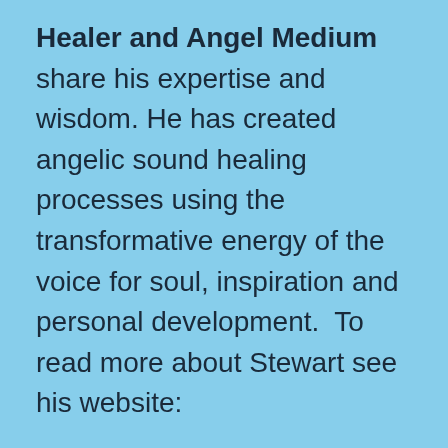Healer and Angel Medium share his expertise and wisdom. He has created angelic sound healing processes using the transformative energy of the voice for soul, inspiration and personal development.  To read more about Stewart see his website:
http://www.thealchemyofvoice.com
https://www.facebook.com/StewartPearceSoundH
He is also the author of the books ‘The Alchemy of Voice’, ‘The Heart’s Note’, and ‘The Angels of Atlantis’. He also has published